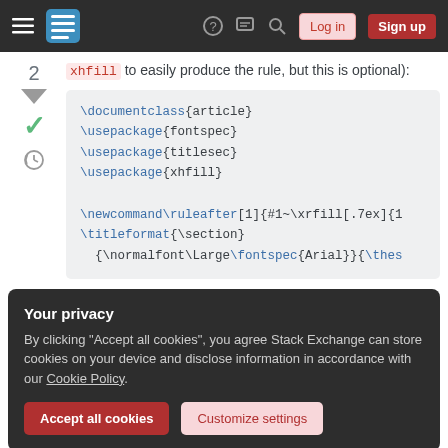Stack Exchange navigation bar with hamburger menu, logo, help, chat, search icons, Log in and Sign up buttons
xhfill to easily produce the rule, but this is optional):
[Figure (screenshot): Code block showing LaTeX code: \documentclass{article} \usepackage{fontspec} \usepackage{titlesec} \usepackage{xhfill} \newcommand\ruleafter[1]{#1~\xrfill[.7ex]{1 \titleformat{\section} {\normalfont\Large\fontspec{Arial}}{\thes]
Your privacy
By clicking "Accept all cookies", you agree Stack Exchange can store cookies on your device and disclose information in accordance with our Cookie Policy.
Accept all cookies
Customize settings
The result: